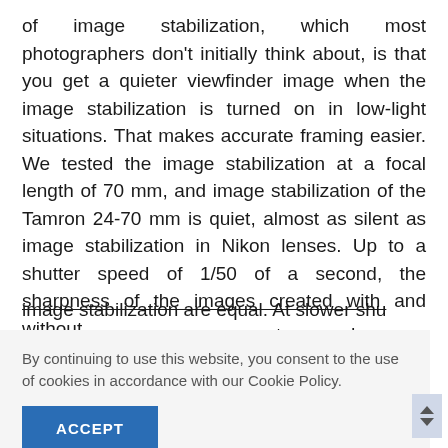of image stabilization, which most photographers don't initially think about, is that you get a quieter viewfinder image when the image stabilization is turned on in low-light situations. That makes accurate framing easier. We tested the image stabilization at a focal length of 70 mm, and image stabilization of the Tamron 24-70 mm is quiet, almost as silent as image stabilization in Nikon lenses. Up to a shutter speed of 1/50 of a second, the sharpness of the images created with and without image stabilization are equal. At slower shutter speeds, [text continues obscured] not made [text continues] need of [text] at a [text continues] a second, [text] mage [text] nots are
By continuing to use this website, you consent to the use of cookies in accordance with our Cookie Policy.